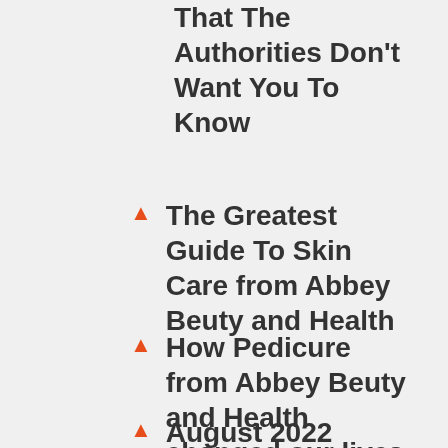Beuty and Health That The Authorities Don't Want You To Know
The Greatest Guide To Skin Care from Abbey Beuty and Health
How Pedicure from Abbey Beuty and Health changed our lives in The Newest Year
August 2022